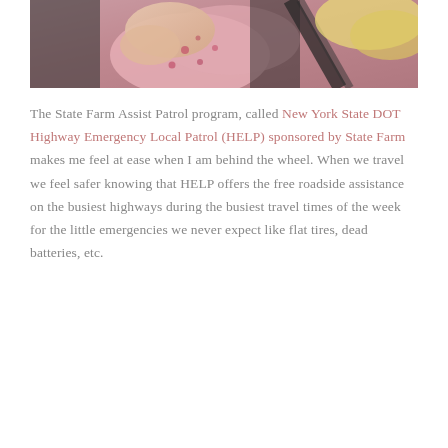[Figure (photo): Close-up photo of a child in a pink floral outfit secured with a seatbelt in a car, with blonde hair visible]
The State Farm Assist Patrol program, called New York State DOT Highway Emergency Local Patrol (HELP) sponsored by State Farm makes me feel at ease when I am behind the wheel. When we travel we feel safer knowing that HELP offers the free roadside assistance on the busiest highways during the busiest travel times of the week for the little emergencies we never expect like flat tires, dead batteries, etc.